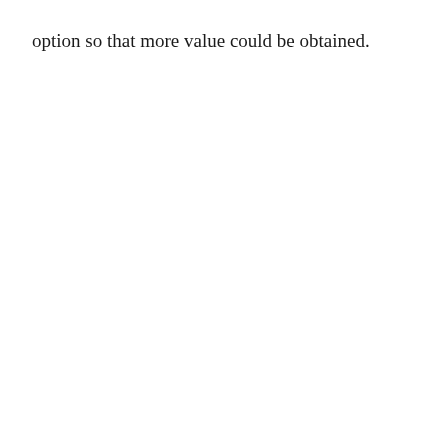option so that more value could be obtained.